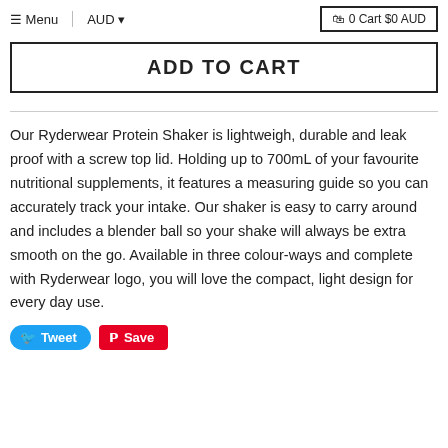Menu | AUD ▾   🛍 0 Cart $0 AUD
ADD TO CART
Our Ryderwear Protein Shaker is lightweigh, durable and leak proof with a screw top lid. Holding up to 700mL of your favourite nutritional supplements, it features a measuring guide so you can accurately track your intake. Our shaker is easy to carry around and includes a blender ball so your shake will always be extra smooth on the go. Available in three colour-ways and complete with Ryderwear logo, you will love the compact, light design for every day use.
Tweet  Save